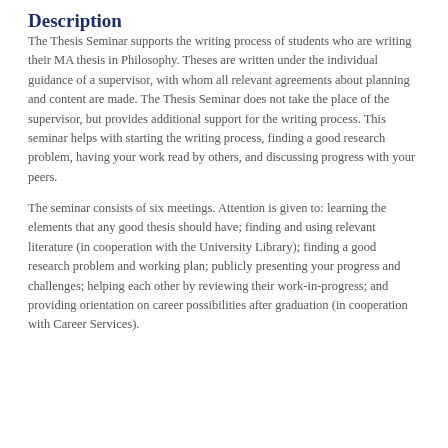Description
The Thesis Seminar supports the writing process of students who are writing their MA thesis in Philosophy. Theses are written under the individual guidance of a supervisor, with whom all relevant agreements about planning and content are made. The Thesis Seminar does not take the place of the supervisor, but provides additional support for the writing process. This seminar helps with starting the writing process, finding a good research problem, having your work read by others, and discussing progress with your peers.
The seminar consists of six meetings. Attention is given to: learning the elements that any good thesis should have; finding and using relevant literature (in cooperation with the University Library); finding a good research problem and working plan; publicly presenting your progress and challenges; helping each other by reviewing their work-in-progress; and providing orientation on career possibilities after graduation (in cooperation with Career Services).